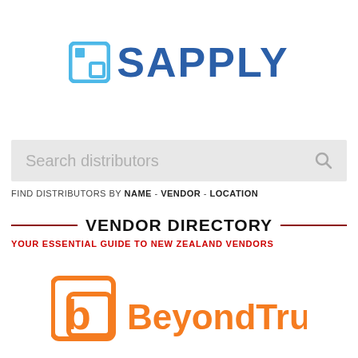[Figure (logo): Sapply logo with blue square icon and blue bold SAPPLY text]
Search distributors
FIND DISTRIBUTORS BY NAME - VENDOR - LOCATION
VENDOR DIRECTORY
YOUR ESSENTIAL GUIDE TO NEW ZEALAND VENDORS
[Figure (logo): BeyondTrust logo with orange icon and orange BeyondTrust text]